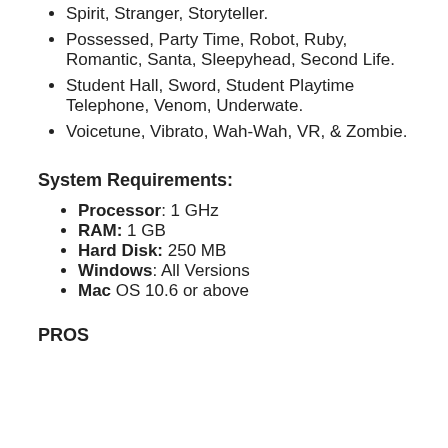Spirit, Stranger, Storyteller.
Possessed, Party Time, Robot, Ruby, Romantic, Santa, Sleepyhead, Second Life.
Student Hall, Sword, Student Playtime Telephone, Venom, Underwate.
Voicetune, Vibrato, Wah-Wah, VR, & Zombie.
System Requirements:
Processor: 1 GHz
RAM: 1 GB
Hard Disk: 250 MB
Windows: All Versions
Mac OS 10.6 or above
PROS